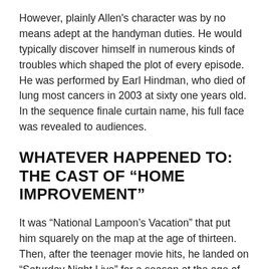However, plainly Allen's character was by no means adept at the handyman duties. He would typically discover himself in numerous kinds of troubles which shaped the plot of every episode. He was performed by Earl Hindman, who died of lung most cancers in 2003 at sixty one years old. In the sequence finale curtain name, his full face was revealed to audiences.
WHATEVER HAPPENED TO: THE CAST OF “HOME IMPROVEMENT”
It was “National Lampoon’s Vacation” that put him squarely on the map at the age of thirteen. Then, after the teenager movie hits, he landed on “Saturday Night Live” for a season at the age of 17. If you’re anything like me, you could have that one skillet that gets used for many every little thing that gets cooked on the